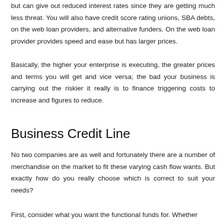but can give out reduced interest rates since they are getting much less threat. You will also have credit score rating unions, SBA debts, on the web loan providers, and alternative funders. On the web loan provider provides speed and ease but has larger prices.
Basically, the higher your enterprise is executing, the greater prices and terms you will get and vice versa; the bad your business is carrying out the riskier it really is to finance triggering costs to increase and figures to reduce.
Business Credit Line
No two companies are as well and fortunately there are a number of merchandise on the market to fit these varying cash flow wants. But exactly how do you really choose which is correct to suit your needs?
First, consider what you want the functional funds for. Whether